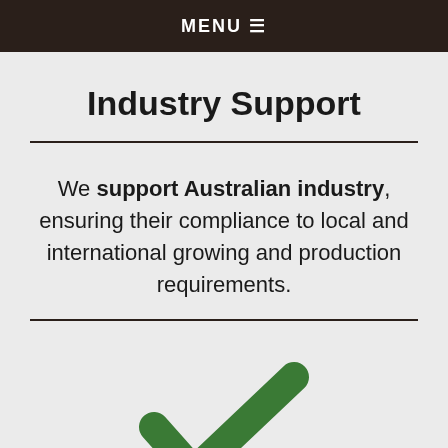MENU ☰
Industry Support
We support Australian industry, ensuring their compliance to local and international growing and production requirements.
[Figure (illustration): A large green checkmark icon centered on the page]